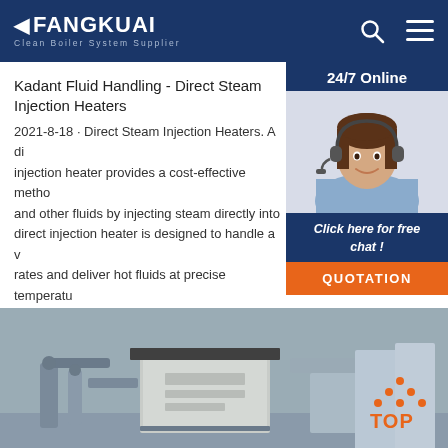FANGKUAI - Clean Boiler System Supplier
Kadant Fluid Handling - Direct Steam Injection Heaters
2021-8-18 · Direct Steam Injection Heaters. A direct steam injection heater provides a cost-effective method and other fluids by injecting steam directly into direct injection heater is designed to handle a wide rates and deliver hot fluids at precise temperatures less energy than an indirect heat ...
[Figure (photo): Woman with headset smiling - customer service representative for 24/7 online chat widget]
24/7 Online
Click here for free chat !
QUOTATION
[Figure (photo): Industrial boiler/heat exchanger equipment photograph showing metal pipes and equipment]
[Figure (other): TOP navigation button with orange dots arranged in triangle above text TOP]